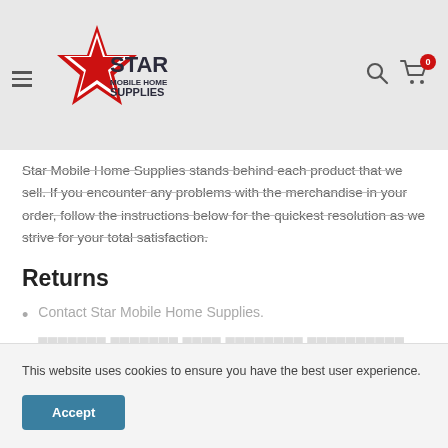Star Mobile Home Supplies — Navigation header with logo, search, and cart
Star Mobile Home Supplies stands behind each product that we sell. If you encounter any problems with the merchandise in your order, follow the instructions below for the quickest resolution as we strive for your total satisfaction.
Returns
Contact Star Mobile Home Supplies.
(partially obscured second list item)
This website uses cookies to ensure you have the best user experience.